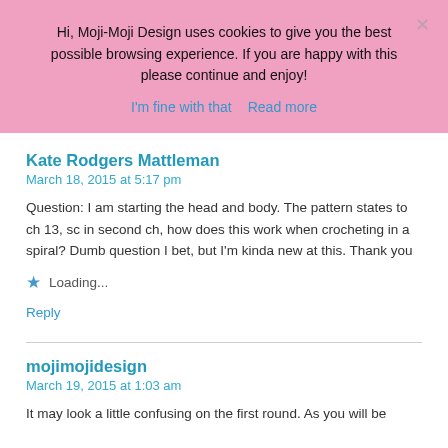Hi, Moji-Moji Design uses cookies to give you the best possible browsing experience. If you are happy with this please continue and enjoy!
I'm fine with that   Read more
Kate Rodgers Mattleman
March 18, 2015 at 5:17 pm
Question: I am starting the head and body. The pattern states to ch 13, sc in second ch, how does this work when crocheting in a spiral? Dumb question I bet, but I'm kinda new at this. Thank you
Loading...
Reply
mojimojidesign
March 19, 2015 at 1:03 am
It may look a little confusing on the first round. As you will be